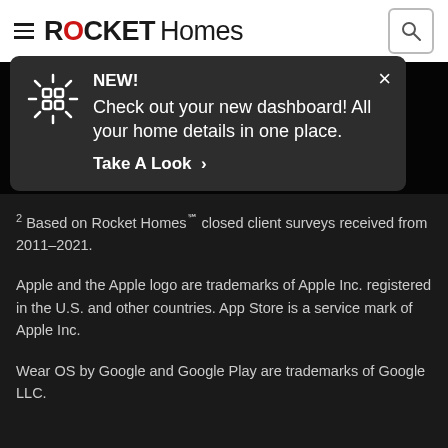ROCKET Homes
[Figure (screenshot): Rocket Homes notification popup: NEW! Check out your new dashboard! All your home details in one place. Take A Look >]
2 Based on Rocket Homes℠ closed client surveys received from 2011–2021.
Apple and the Apple logo are trademarks of Apple Inc. registered in the U.S. and other countries. App Store is a service mark of Apple Inc.
Wear OS by Google and Google Play are trademarks of Google LLC.